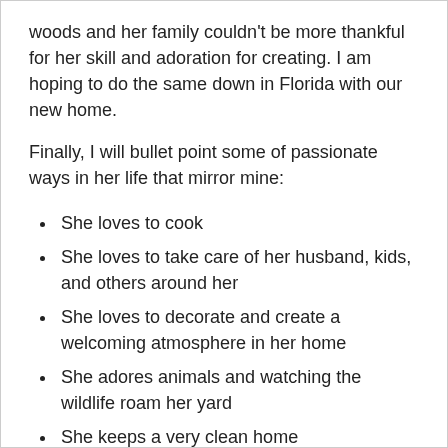woods and her family couldn't be more thankful for her skill and adoration for creating. I am hoping to do the same down in Florida with our new home.
Finally, I will bullet point some of passionate ways in her life that mirror mine:
She loves to cook
She loves to take care of her husband, kids, and others around her
She loves to decorate and create a welcoming atmosphere in her home
She adores animals and watching the wildlife roam her yard
She keeps a very clean home